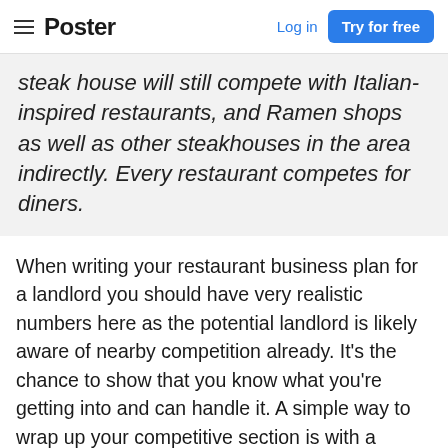Poster  Log in  Try for free
steak house will still compete with Italian-inspired restaurants, and Ramen shops as well as other steakhouses in the area indirectly. Every restaurant competes for diners.
When writing your restaurant business plan for a landlord you should have very realistic numbers here as the potential landlord is likely aware of nearby competition already. It's the chance to show that you know what you're getting into and can handle it. A simple way to wrap up your competitive section is with a SWOT analysis where you can directly address how your restaurant sits in position to your